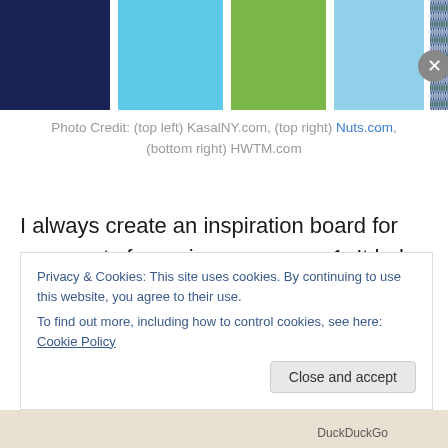[Figure (illustration): Color swatches row: navy blue, sky blue, green, light blue, and a diamond-pattern fabric swatch]
Photo Credit: (top left) KasalNY.com, (top right) Nuts.com, (bottom right) HWTM.com
I always create an inspiration board for my events for various reasons.  1. It helps the client to step into my mind and understand my vision.  2. It helps to keep all vendors that I use or bring in to be on the same page.  3.  (Most importantly) It helps me coordinate all of the fabric,
Privacy & Cookies: This site uses cookies. By continuing to use this website, you agree to their use.
To find out more, including how to control cookies, see here: Cookie Policy